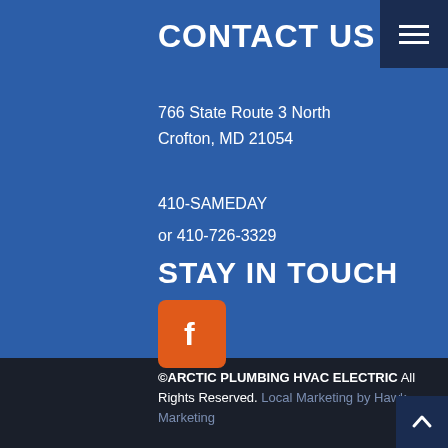CONTACT US
766 State Route 3 North
Crofton, MD 21054
410-SAMEDAY
or 410-726-3329
STAY IN TOUCH
[Figure (logo): Facebook icon — orange rounded square with white letter f]
©ARCTIC PLUMBING HVAC ELECTRIC All Rights Reserved. Local Marketing by Hawk Marketing